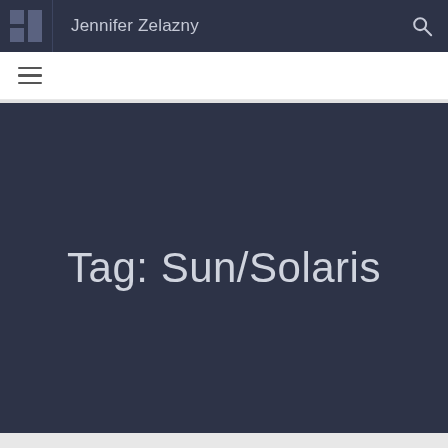Jennifer Zelazny
Tag: Sun/Solaris